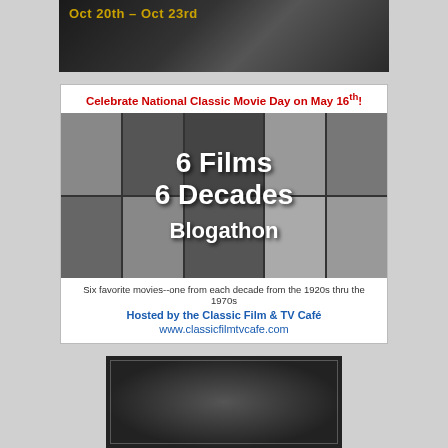[Figure (photo): Black and white film promotional banner with yellow text 'Oct 20th - Oct 23rd' overlaid on a dark vintage movie scene]
[Figure (infographic): 6 Films 6 Decades Blogathon promotional card. Red headline: 'Celebrate National Classic Movie Day on May 16th!' followed by a collage of classic film stills with white bold text overlay reading '6 Films 6 Decades Blogathon'. Footer text: 'Six favorite movies--one from each decade from the 1920s thru the 1970s', 'Hosted by the Classic Film & TV Café', 'www.classicfilmtvcafe.com']
[Figure (photo): Black and white photo of a surprised-looking man's face with confetti or leaves falling around him, with a decorative Art Deco style border frame overlay]